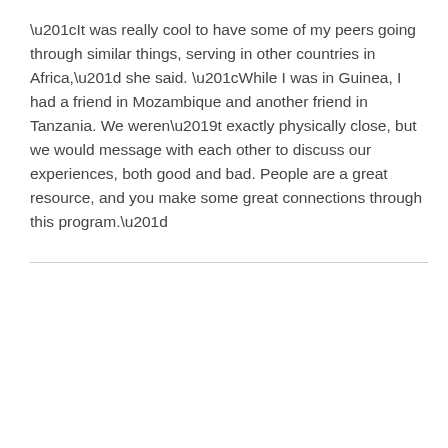“It was really cool to have some of my peers going through similar things, serving in other countries in Africa,” she said. “While I was in Guinea, I had a friend in Mozambique and another friend in Tanzania. We weren’t exactly physically close, but we would message with each other to discuss our experiences, both good and bad. People are a great resource, and you make some great connections through this program.”